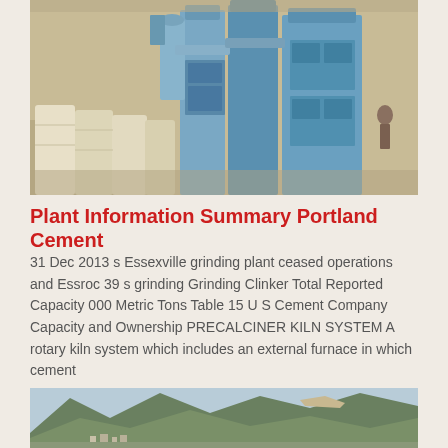[Figure (photo): Industrial cement grinding plant with large blue machinery, silos, conveyor pipes, and stacked bags of cement in a warehouse setting.]
Plant Information Summary Portland Cement
31 Dec 2013 s Essexville grinding plant ceased operations and Essroc 39 s grinding Grinding Clinker Total Reported Capacity 000 Metric Tons Table 15 U S Cement Company Capacity and Ownership PRECALCINER KILN SYSTEM A rotary kiln system which includes an external furnace in which cement
[Figure (photo): Mountain landscape with green hillsides, a quarry or mining operation visible on the hillside, and a small settlement at the base of the mountains.]